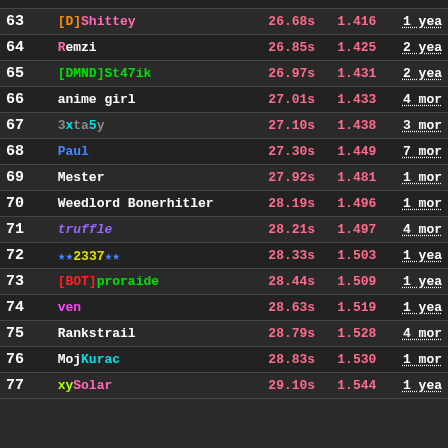| Rank | Name | Time | Ratio | Age |
| --- | --- | --- | --- | --- |
| 63 | [D]Shittey | 26.68s | 1.416 | 1 yea |
| 64 | Remzi | 26.85s | 1.425 | 2 yea |
| 65 | [DMND]St47ik | 26.97s | 1.431 | 2 yea |
| 66 | anime girl | 27.01s | 1.433 | 4 mor |
| 67 | 3xta5y | 27.10s | 1.438 | 3 mor |
| 68 | Paul | 27.30s | 1.449 | 7 mor |
| 69 | Mester | 27.92s | 1.481 | 1 mor |
| 70 | Weedlord Bonerhitler | 28.19s | 1.496 | 1 mor |
| 71 | truffle | 28.21s | 1.497 | 4 mor |
| 72 | ★★2337★★ | 28.33s | 1.503 | 1 yea |
| 73 | [BOT]proraide | 28.44s | 1.509 | 1 yea |
| 74 | ven | 28.63s | 1.519 | 1 yea |
| 75 | Rankstrail | 28.79s | 1.528 | 4 mor |
| 76 | MojKurac | 28.83s | 1.530 | 1 mor |
| 77 | xySolar | 29.10s | 1.544 | 1 yea |